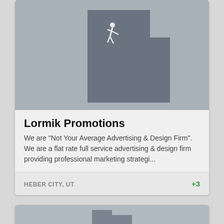[Figure (illustration): Map silhouette of Utah state in dark gray on a medium gray background, with a small white icon figure in the upper portion of the state]
Lormik Promotions
We are "Not Your Average Advertising & Design Firm". We are a flat rate full service advertising & design firm providing professional marketing strategi...
HEBER CITY, UT
+3
[Figure (illustration): Partial view of a second business card showing a gray map image at the bottom of the page]